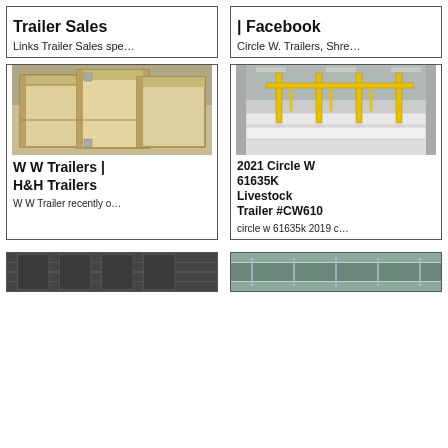Trailer Sales
Links Trailer Sales spe…
| Facebook
Circle W. Trailers, Shre…
[Figure (photo): Photo of wooden crates/panels stacked outdoors]
W W Trailers | H&H Trailers
W W Trailer recently o…
[Figure (photo): Photo of industrial manufacturing facility with yellow crane and white panels]
2021 Circle W 61635K Livestock Trailer #CW610
circle w 61635k 2019 c…
[Figure (photo): Partial photo of trailer interior, bottom row left]
[Figure (photo): Partial photo of trailer, bottom row right]